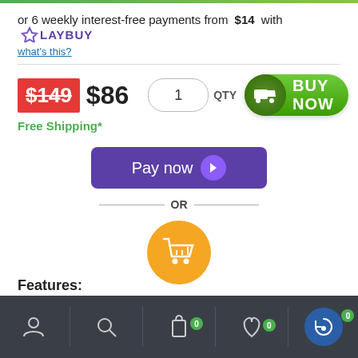or 6 weekly interest-free payments from $14 with LAYBUY
what's this?
$149 $86 1 QTY BUY NOW
Free Shipping*
[Figure (screenshot): Pay now button with purple background and arrow icon]
— OR —
[Figure (screenshot): Orange shopping cart button]
Features:
[Figure (screenshot): Bottom navigation bar with user, search, cart (0), wishlist (0), and messenger icons]